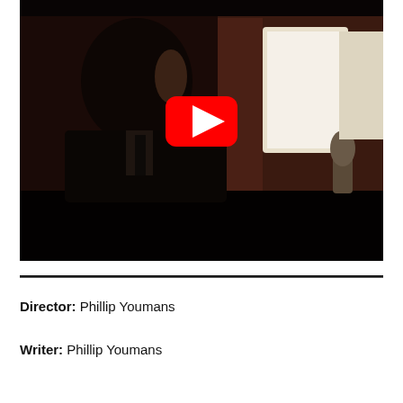[Figure (screenshot): YouTube video thumbnail showing a man in a suit with a beard, photographed in profile/three-quarter view in a dark, cinematic scene. A bright light source and microphone are visible in the background. A red YouTube play button overlay is centered on the image.]
Director: Phillip Youmans
Writer: Phillip Youmans